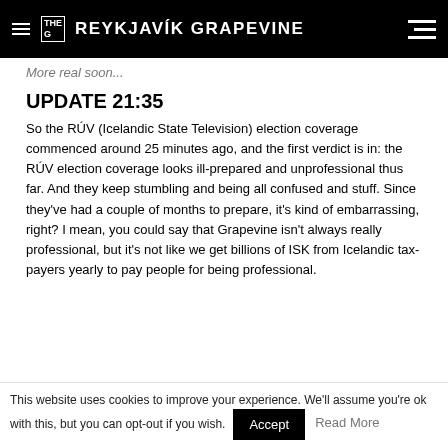THE G REYKJAVÍK GRAPEVINE
More real soon...
UPDATE 21:35
So the RÚV (Icelandic State Television) election coverage commenced around 25 minutes ago, and the first verdict is in: the RÚV election coverage looks ill-prepared and unprofessional thus far. And they keep stumbling and being all confused and stuff. Since they've had a couple of months to prepare, it's kind of embarrassing, right? I mean, you could say that Grapevine isn't always really professional, but it's not like we get billions of ISK from Icelandic tax-payers yearly to pay people for being professional.
This website uses cookies to improve your experience. We'll assume you're ok with this, but you can opt-out if you wish. Accept Read More